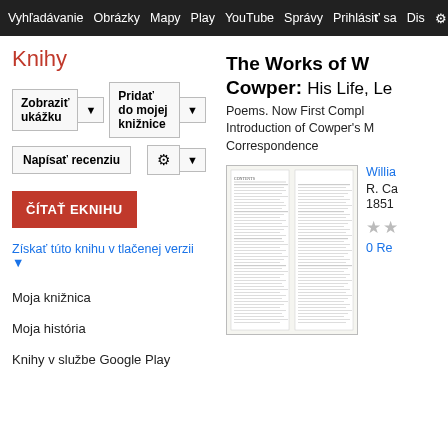Vyhľadávanie Obrázky Mapy Play YouTube Správy Prihlásiť sa Dis D
Knihy
Zobraziť ukážku
Pridať do mojej knižnice
Napísať recenziu
ČÍTAŤ EKNIHU
Získať túto knihu v tlačenej verzii
Moja knižnica
Moja história
Knihy v službe Google Play
The Works of W Cowper: His Life, Le Poems. Now First Compl Introduction of Cowper's M Correspondence
Willia
R. Ca
1851
0 Re
[Figure (photo): Thumbnail image of book page showing contents table]